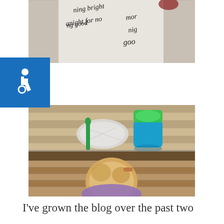[Figure (photo): Top portion of a child wearing a white shirt with cursive text visible including words like 'morning bright', 'straight forward', 'morning good', 'more nig', 'good']
[Figure (photo): Overhead view of a wooden deck/table with a green fork/spoon utensil, a clear plastic bag, and a blue and green sippy cup with green liquid inside]
[Figure (photo): Overhead view of a young blond toddler looking down at wooden deck steps, wearing a purple shirt, with mulch visible in background]
I've grown the blog over the past two